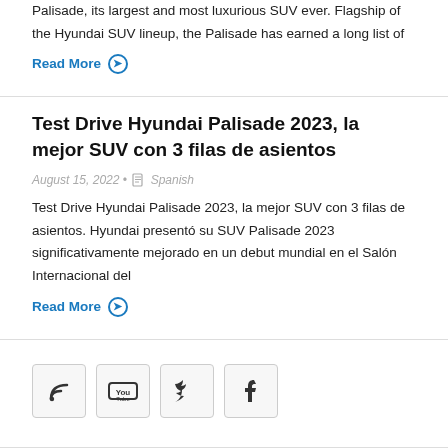Palisade, its largest and most luxurious SUV ever. Flagship of the Hyundai SUV lineup, the Palisade has earned a long list of
Read More
Test Drive Hyundai Palisade 2023, la mejor SUV con 3 filas de asientos
August 15, 2022 • Spanish
Test Drive Hyundai Palisade 2023, la mejor SUV con 3 filas de asientos. Hyundai presentó su SUV Palisade 2023 significativamente mejorado en un debut mundial en el Salón Internacional del
Read More
[Figure (infographic): Social media icons: RSS feed, YouTube, Twitter, Facebook in bordered boxes]